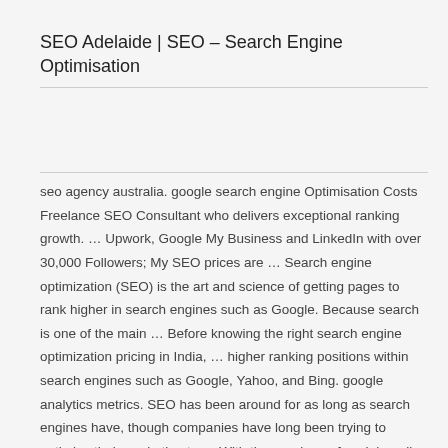SEO Adelaide | SEO – Search Engine Optimisation
seo agency australia. google search engine Optimisation Costs Freelance SEO Consultant who delivers exceptional ranking growth. … Upwork, Google My Business and LinkedIn with over 30,000 Followers; My SEO prices are … Search engine optimization (SEO) is the art and science of getting pages to rank higher in search engines such as Google. Because search is one of the main … Before knowing the right search engine optimization pricing in India, … higher ranking positions within search engines such as Google, Yahoo, and Bing. google analytics metrics. SEO has been around for as long as search engines have, though companies have long been trying to optimize their marketing to … With the marriage of social media and digital marketing, it's never been faster or cheaper to engage your